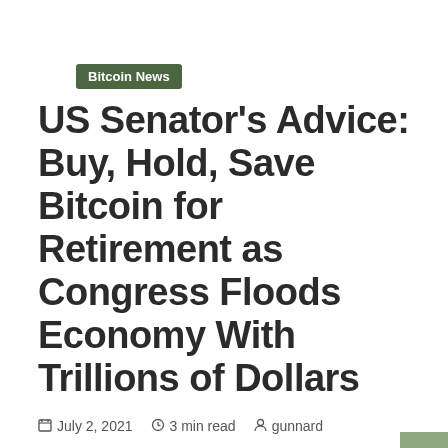Bitcoin News
US Senator's Advice: Buy, Hold, Save Bitcoin for Retirement as Congress Floods Economy With Trillions of Dollars
July 2, 2021   3 min read   gunnard